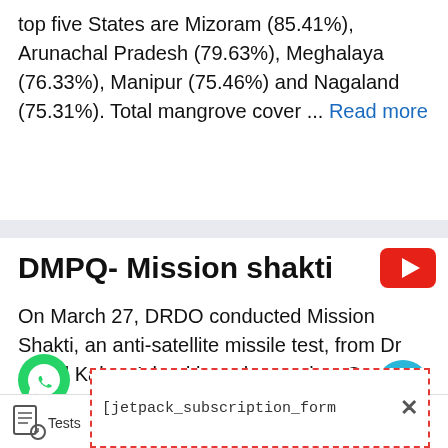top five States are Mizoram (85.41%), Arunachal Pradesh (79.63%), Meghalaya (76.33%), Manipur (75.46%) and Nagaland (75.31%). Total mangrove cover ... Read more
DMPQ- Mission shakti
On March 27, DRDO conducted Mission Shakti, an anti-satellite missile test, from Dr Abdul Kalam Island launch complex. O ndia's existing satellite operating in
[jetpack_subscription_form